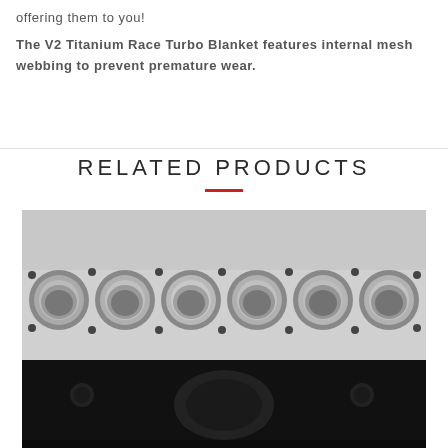offering them to you!
The V2 Titanium Race Turbo Blanket features internal mesh webbing to prevent premature wear.
RELATED PRODUCTS
[Figure (photo): Close-up photo of a 6-cylinder engine block showing pistons and bores, engine block is painted black with bare metal cylinder bores visible]